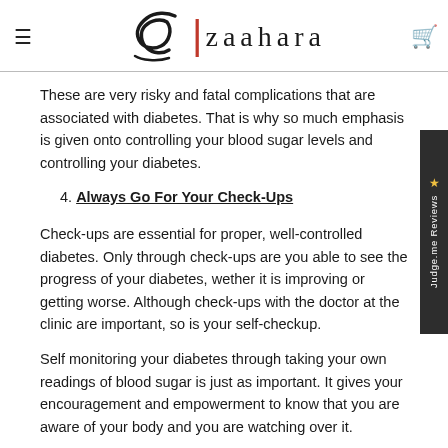zaahara — navigation header with logo, hamburger menu, and cart icon
These are very risky and fatal complications that are associated with diabetes. That is why so much emphasis is given onto controlling your blood sugar levels and controlling your diabetes.
4. Always Go For Your Check-Ups
Check-ups are essential for proper, well-controlled diabetes. Only through check-ups are you able to see the progress of your diabetes, wether it is improving or getting worse. Although check-ups with the doctor at the clinic are important, so is your self-checkup.
Self monitoring your diabetes through taking your own readings of blood sugar is just as important. It gives your encouragement and empowerment to know that you are aware of your body and you are watching over it.